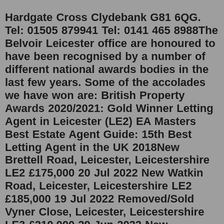Hardgate Cross Clydebank G81 6QG. Tel: 01505 879941 Tel: 0141 465 8988The Belvoir Leicester office are honoured to have been recognised by a number of different national awards bodies in the last few years. Some of the accolades we have won are: British Property Awards 2020/2021: Gold Winner Letting Agent in Leicester (LE2) EA Masters Best Estate Agent Guide: 15th Best Letting Agent in the UK 2018New Brettell Road, Leicester, Leicestershire LE2 £175,000 20 Jul 2022 New Watkin Road, Leicester, Leicestershire LE2 £185,000 19 Jul 2022 Removed/Sold Vyner Close, Leicester, Leicestershire LE3 £210,000 29 Jun 2022 New Watergate Court, Watergate Lane, Leicester, Leicestershire LE3 £135,000 26 Jun 2022With over 30 years' estate agency experience, and extensive knowledge of the local area and housing market, Corley Estate Agents are bringing a new approach to property within your area. We combine traditional estate agency services with a more modern approach, including fully interactive online floor plans, and our phone lines